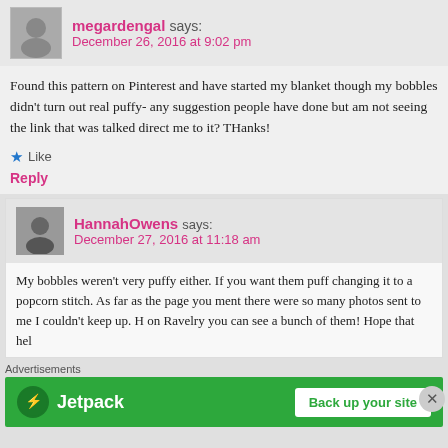megardengal says: December 26, 2016 at 9:02 pm
Found this pattern on Pinterest and have started my blanket though my bobbles didn't turn out real puffy- any suggestion people have done but am not seeing the link that was talked direct me to it? THanks!
Like
Reply
HannahOwens says: December 27, 2016 at 11:18 am
My bobbles weren't very puffy either. If you want them puff changing it to a popcorn stitch. As far as the page you ment there were so many photos sent to me I couldn't keep up. H on Ravelry you can see a bunch of them! Hope that hel
Advertisements
[Figure (infographic): Jetpack advertisement banner with green background, Jetpack logo and name on left, 'Back up your site' white button on right]